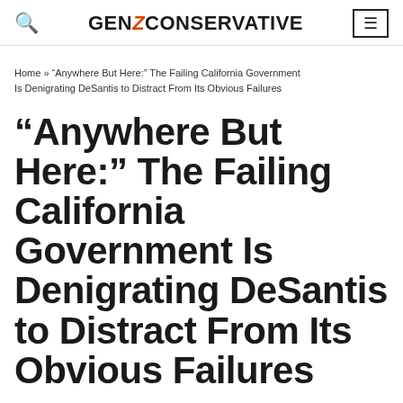GenZ Conservative
Home » “Anywhere But Here:” The Failing California Government Is Denigrating DeSantis to Distract From Its Obvious Failures
“Anywhere But Here:” The Failing California Government Is Denigrating DeSantis to Distract From Its Obvious Failures